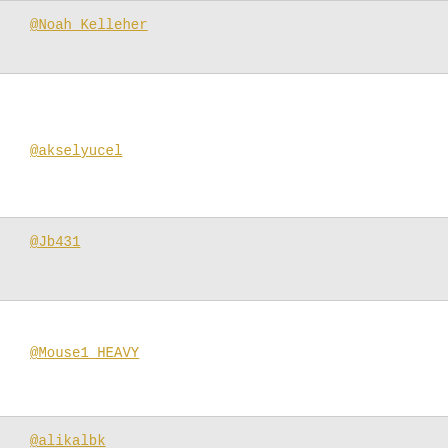@Noah_Kelleher
@akselyucel
@Jb431
@Mouse1_HEAVY
@alikalbk